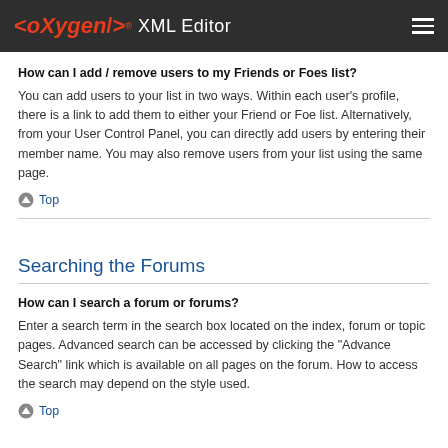<oXygen/> XML Editor
How can I add / remove users to my Friends or Foes list?
You can add users to your list in two ways. Within each user's profile, there is a link to add them to either your Friend or Foe list. Alternatively, from your User Control Panel, you can directly add users by entering their member name. You may also remove users from your list using the same page.
Top
Searching the Forums
How can I search a forum or forums?
Enter a search term in the search box located on the index, forum or topic pages. Advanced search can be accessed by clicking the "Advance Search" link which is available on all pages on the forum. How to access the search may depend on the style used.
Top